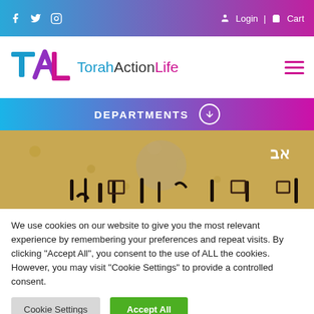f  Twitter  Instagram    Login  |  Cart
[Figure (logo): TorahActionLife logo with stylized TAL letters and brand name]
DEPARTMENTS ⊕
[Figure (photo): Close-up of ancient manuscript or scroll with Hebrew text and dark ink markings on parchment-colored background]
We use cookies on our website to give you the most relevant experience by remembering your preferences and repeat visits. By clicking "Accept All", you consent to the use of ALL the cookies. However, you may visit "Cookie Settings" to provide a controlled consent.
Cookie Settings
Accept All